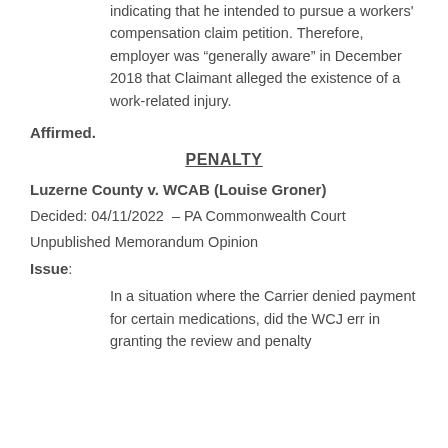indicating that he intended to pursue a workers' compensation claim petition. Therefore, employer was “generally aware” in December 2018 that Claimant alleged the existence of a work-related injury.
Affirmed.
PENALTY
Luzerne County v. WCAB (Louise Groner)
Decided: 04/11/2022  – PA Commonwealth Court
Unpublished Memorandum Opinion
Issue:
In a situation where the Carrier denied payment for certain medications, did the WCJ err in granting the review and penalty